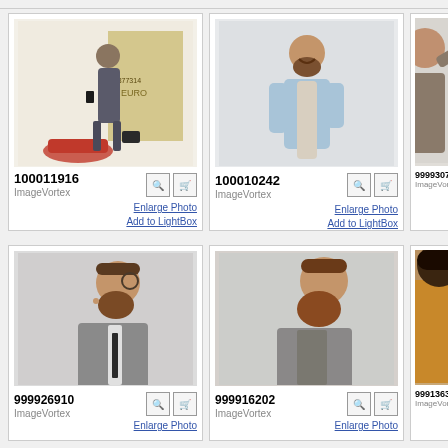[Figure (photo): Stock photo of bearded man in suit with briefcase, red car and Euro banknote background. ID: 100011916, ImageVortex]
100011916
ImageVortex
Enlarge Photo
Add to LightBox
[Figure (photo): Stock photo of smiling bearded man in light blue shirt with scarf. ID: 100010242, ImageVortex]
100010242
ImageVortex
Enlarge Photo
Add to LightBox
[Figure (photo): Partial stock photo, partially visible person. ID: 999930700, ImageVortex]
999930700
ImageVortex
[Figure (photo): Stock photo of bearded man with glasses in suit, side profile. ID: 999926910, ImageVortex]
999926910
ImageVortex
Enlarge Photo
[Figure (photo): Stock photo of bearded man in suit with tie, side profile. ID: 999916202, ImageVortex]
999916202
ImageVortex
Enlarge Photo
[Figure (photo): Partial stock photo of person, partially visible. ID: 999136325, ImageVortex]
999136325
ImageVortex